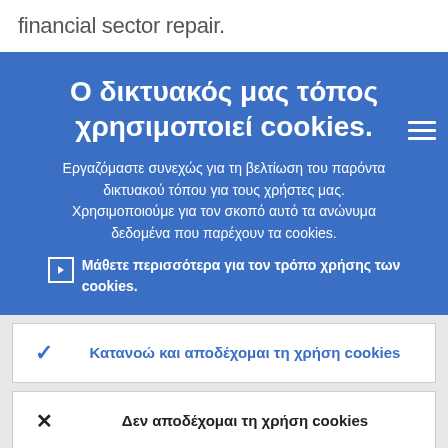financial sector repair.
Ο δικτυακός μας τόπος χρησιμοποιεί cookies.
Εργαζόμαστε συνεχώς για τη βελτίωση του παρόντα δικτυακού τόπου για τους χρήστες μας. Χρησιμοποιούμε για τον σκοπό αυτό τα ανώνυμα δεδομένα που παρέχουν τα cookies.
Μάθετε περισσότερα για τον τρόπο χρήσης των cookies.
Κατανοώ και αποδέχομαι τη χρήση cookies
Δεν αποδέχομαι τη χρήση cookies